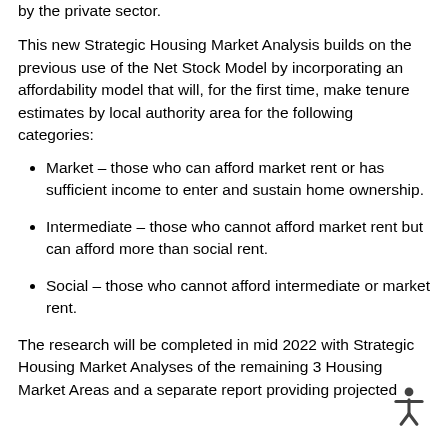by the private sector.
This new Strategic Housing Market Analysis builds on the previous use of the Net Stock Model by incorporating an affordability model that will, for the first time, make tenure estimates by local authority area for the following categories:
Market – those who can afford market rent or has sufficient income to enter and sustain home ownership.
Intermediate – those who cannot afford market rent but can afford more than social rent.
Social – those who cannot afford intermediate or market rent.
The research will be completed in mid 2022 with Strategic Housing Market Analyses of the remaining 3 Housing Market Areas and a separate report providing projected